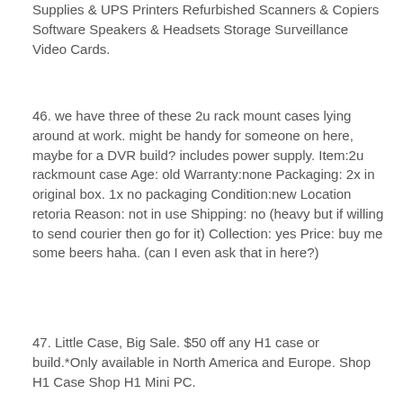Supplies & UPS Printers Refurbished Scanners & Copiers Software Speakers & Headsets Storage Surveillance Video Cards.
46. we have three of these 2u rack mount cases lying around at work. might be handy for someone on here, maybe for a DVR build? includes power supply. Item:2u rackmount case Age: old Warranty:none Packaging: 2x in original box. 1x no packaging Condition:new Location retoria Reason: not in use Shipping: no (heavy but if willing to send courier then go for it) Collection: yes Price: buy me some beers haha. (can I even ask that in here?)
47. Little Case, Big Sale. $50 off any H1 case or build.*Only available in North America and Europe. Shop H1 Case Shop H1 Mini PC.